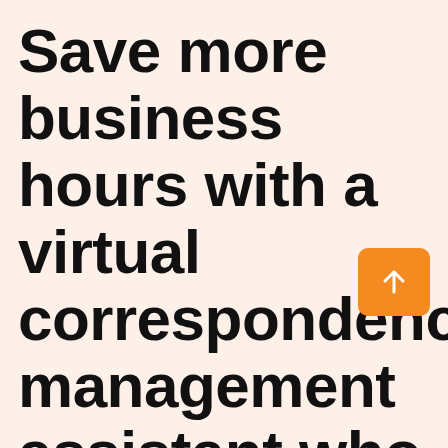Save more business hours with a virtual correspondence management assistant who can help you handle everyday tasks.
[Figure (illustration): Orange square button with white upward-pointing arrow icon]